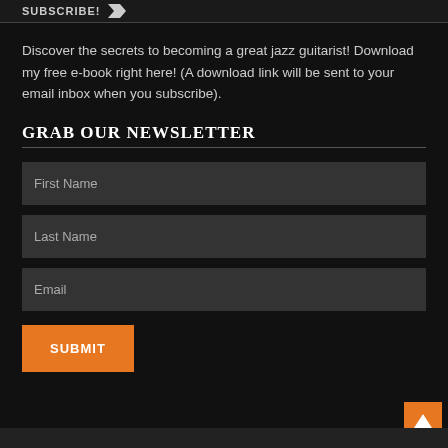SUBSCRIBE!
Discover the secrets to becoming a great jazz guitarist! Download my free e-book right here! (A download link will be sent to your email inbox when you subscribe).
GRAB OUR NEWSLETTER
First Name
Last Name
Email
SUBMIT